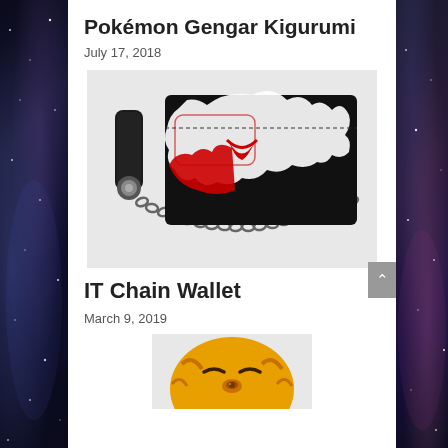Pokémon Gengar Kigurumi
July 17, 2018
[Figure (photo): A black chain wallet featuring a Gengar (Pokémon) design in white and red, with a metal chain and leather belt loop attachment on the left side.]
IT Chain Wallet
March 9, 2019
[Figure (photo): A yellow character face wallet partially visible at the bottom, resembling Tigger or similar animal character with closed eyes and a nose button.]